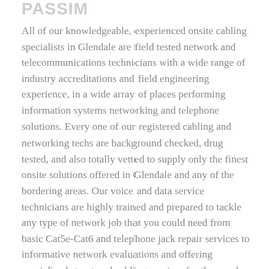PASSIM
All of our knowledgeable, experienced onsite cabling specialists in Glendale are field tested network and telecommunications technicians with a wide range of industry accreditations and field engineering experience, in a wide array of places performing information systems networking and telephone solutions. Every one of our registered cabling and networking techs are background checked, drug tested, and also totally vetted to supply only the finest onsite solutions offered in Glendale and any of the bordering areas. Our voice and data service technicians are highly trained and prepared to tackle any type of network job that you could need from basic Cat5e-Cat6 and telephone jack repair services to informative network evaluations and offering specialized structured cabling services for thousands of voice and data network drops in existing or new construction environments. We supply high quality onsite repair services for your existing LAN/WAN as well, including recabling, testing, certifying, cabling clean-